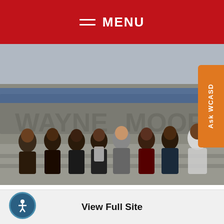MENU
[Figure (photo): Group of students from East, Henderson, and Rustin High Schools seated on steps outside a building with 'Wayne' visible in stone lettering, with an orange 'Ask WCASD' tab on the right side]
A group of students from East, Henderson, and Rustin High Schools attended the Delaware Valley Consortium for Excellence & Equity's 12th Annual High School Student Leadership Institute on November 30, 2017. The one-day forum, held at the University of Pennsylvania, was designed to teach students about how to effectively
View Full Site